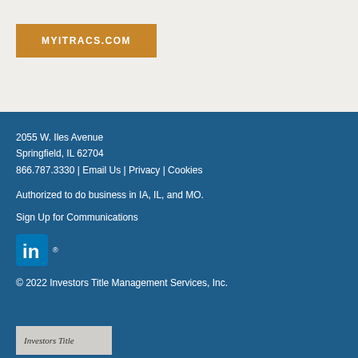MYITRACS.COM
2055 W. Iles Avenue
Springfield, IL 62704
866.787.3330 | Email Us | Privacy | Cookies
Authorized to do business in IA, IL, and MO.
Sign Up for Communications
[Figure (logo): LinkedIn logo icon with registered trademark symbol]
© 2022 Investors Title Management Services, Inc.
[Figure (logo): Investors Title logo at bottom of page]